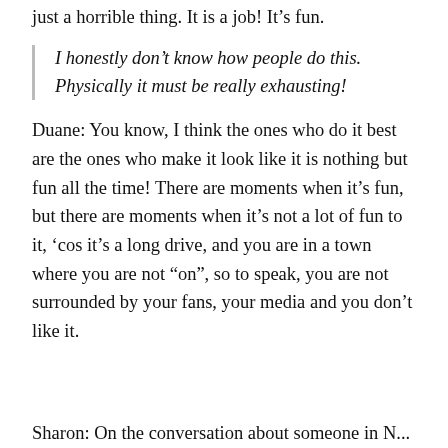just a horrible thing. It is a job! It’s fun.
I honestly don’t know how people do this. Physically it must be really exhausting!
Duane: You know, I think the ones who do it best are the ones who make it look like it is nothing but fun all the time! There are moments when it’s fun, but there are moments when it’s not a lot of fun to it, ‘cos it’s a long drive, and you are in a town where you are not “on”, so to speak, you are not surrounded by your fans, your media and you don’t like it.
Sharon: On the conversation about someone in N...